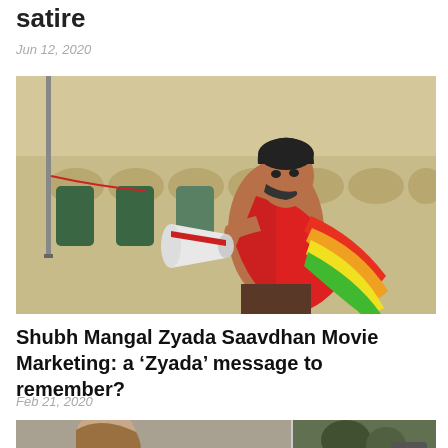satire
Jun 12, 2020
[Figure (photo): A shirtless man holding a megaphone/bullhorn, wearing a red draped fabric and standing in front of a yellow-beige ornate building with a pole. He appears to be speaking or shouting through the megaphone.]
Shubh Mangal Zyada Saavdhan Movie Marketing: a ‘Zyada’ message to remember?
Feb 21, 2020
[Figure (photo): Bottom portion of the page showing two side-by-side images: left shows a person with long hair, right shows a outdoor/nature scene. A scroll-up arrow button is visible at bottom right.]